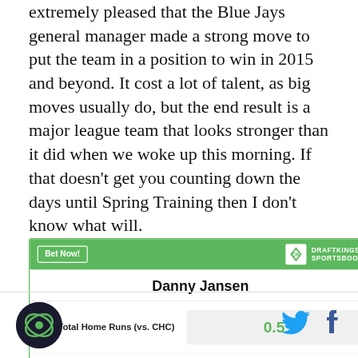extremely pleased that the Blue Jays general manager made a strong move to put the team in a position to win in 2015 and beyond. It cost a lot of talent, as big moves usually do, but the end result is a major league team that looks stronger than it did when we woke up this morning. If that doesn't get you counting down the days until Spring Training then I don't know what will.
| Danny Jansen |  |
| --- | --- |
| O/U Total Home Runs (vs. CHC) | 0.5 |
| O/U Total Hits (vs. CHC) | 0.5 |